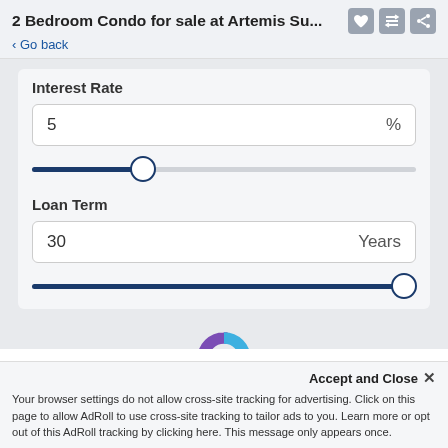2 Bedroom Condo for sale at Artemis Su...
< Go back
Interest Rate
5 %
Loan Term
30 Years
[Figure (donut-chart): Partial donut chart visible at the bottom of the page, showing purple and blue segments]
Accept and Close ✕
Your browser settings do not allow cross-site tracking for advertising. Click on this page to allow AdRoll to use cross-site tracking to tailor ads to you. Learn more or opt out of this AdRoll tracking by clicking here. This message only appears once.